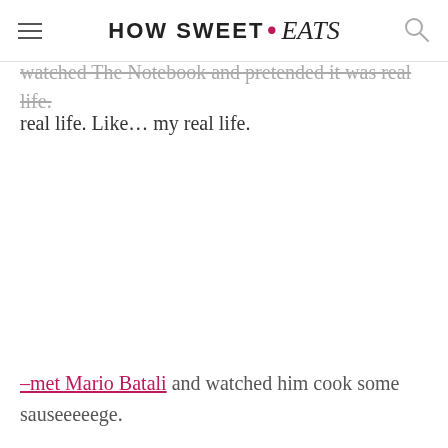HOW SWEET • eats
watched The Notebook and pretended it was real life. Like… my real life.
–met Mario Batali and watched him cook some sauseeeeege.